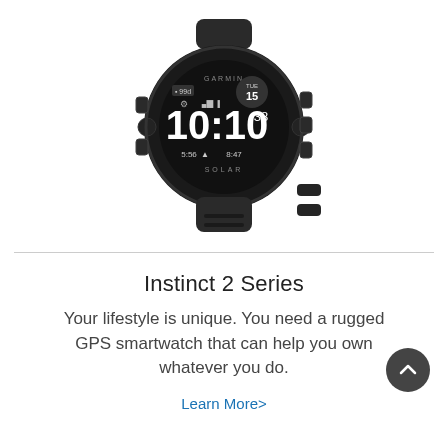[Figure (photo): Garmin Instinct 2 smartwatch in graphite/black colorway, shown at an angle with the display showing 10:10, TUE 15, battery 99d, and sunrise/sunset times 5:56 and 8:47]
Instinct 2 Series
Your lifestyle is unique. You need a rugged GPS smartwatch that can help you own whatever you do.
Learn More>